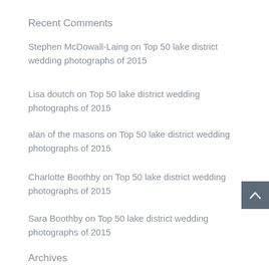Recent Comments
Stephen McDowall-Laing on Top 50 lake district wedding photographs of 2015
Lisa doutch on Top 50 lake district wedding photographs of 2015
alan of the masons on Top 50 lake district wedding photographs of 2015
Charlotte Boothby on Top 50 lake district wedding photographs of 2015
Sara Boothby on Top 50 lake district wedding photographs of 2015
Archives
November 2019